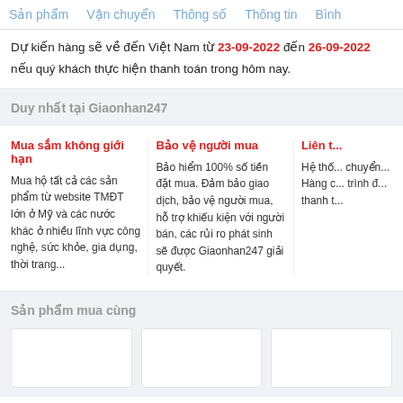Sản phẩm   Vận chuyển   Thông số   Thông tin   Bình
Dự kiến hàng sẽ về đến Việt Nam từ 23-09-2022 đến 26-09-2022 nếu quý khách thực hiện thanh toán trong hôm nay.
Duy nhất tại Giaonhan247
Mua sắm không giới hạn
Mua hộ tất cả các sản phẩm từ website TMĐT lớn ở Mỹ và các nước khác ở nhiều lĩnh vực công nghệ, sức khỏe, gia dụng, thời trang...
Bảo vệ người mua
Bảo hiểm 100% số tiền đặt mua. Đảm bảo giao dịch, bảo vệ người mua, hỗ trợ khiếu kiện với người bán, các rủi ro phát sinh sẽ được Giaonhan247 giải quyết.
Liên t...
Hệ thố... chuyển... Hàng c... trình đ... thanh t...
Sản phẩm mua cùng
[Figure (other): Three empty white product card placeholders]